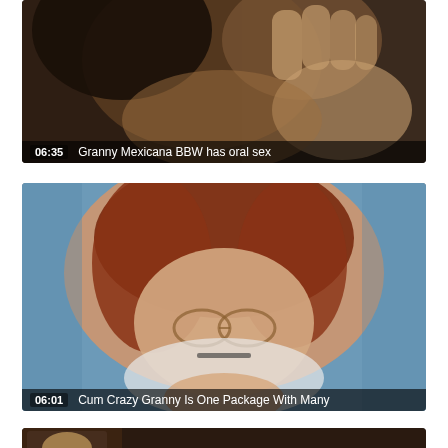[Figure (screenshot): Video thumbnail 1: close-up dark image with overlay bar showing time '06:35' and title 'Granny Mexicana BBW has oral sex']
[Figure (screenshot): Video thumbnail 2: image of redhead woman with glasses with overlay bar showing time '06:01' and title 'Cum Crazy Granny Is One Package With Many']
[Figure (screenshot): Video thumbnail 3: partially visible at bottom of page]